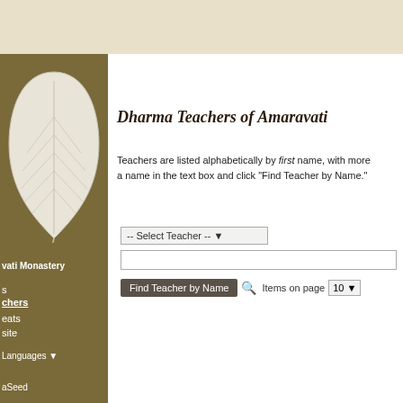[Figure (illustration): White/cream Bodhi leaf illustration on olive-brown sidebar background]
vati Monastery
s
chers
eats
site
Languages
aSeed
Dharma Teachers of Amaravati Monastery
Teachers are listed alphabetically by first name, with more... a name in the text box and click "Find Teacher by Name."
-- Select Teacher --
Find Teacher by Name   🔍  Items on page  10